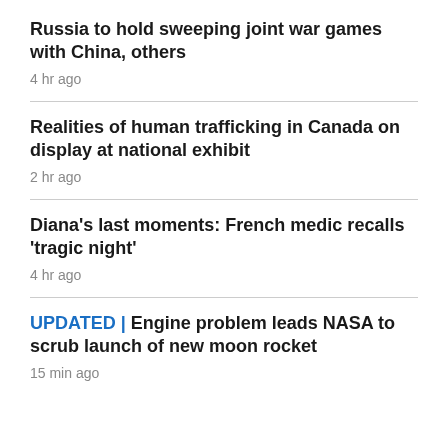Russia to hold sweeping joint war games with China, others
4 hr ago
Realities of human trafficking in Canada on display at national exhibit
2 hr ago
Diana's last moments: French medic recalls 'tragic night'
4 hr ago
UPDATED | Engine problem leads NASA to scrub launch of new moon rocket
15 min ago